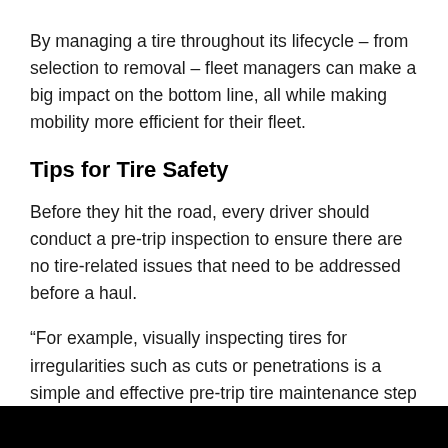By managing a tire throughout its lifecycle – from selection to removal – fleet managers can make a big impact on the bottom line, all while making mobility more efficient for their fleet.
Tips for Tire Safety
Before they hit the road, every driver should conduct a pre-trip inspection to ensure there are no tire-related issues that need to be addressed before a haul.
“For example, visually inspecting tires for irregularities such as cuts or penetrations is a simple and effective pre-trip tire maintenance step that every fleet should perform,” Chen added.
[Figure (photo): A black rectangular image/photo strip at the bottom of the page.]